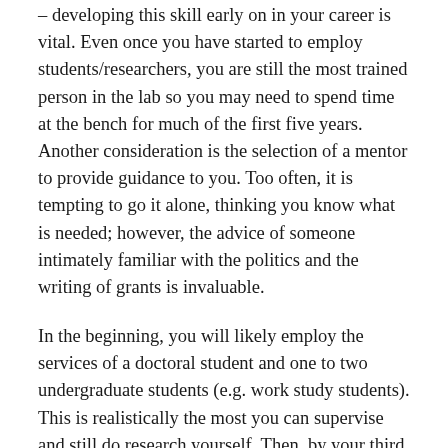– developing this skill early on in your career is vital. Even once you have started to employ students/researchers, you are still the most trained person in the lab so you may need to spend time at the bench for much of the first five years. Another consideration is the selection of a mentor to provide guidance to you. Too often, it is tempting to go it alone, thinking you know what is needed; however, the advice of someone intimately familiar with the politics and the writing of grants is invaluable.
In the beginning, you will likely employ the services of a doctoral student and one to two undergraduate students (e.g. work study students). This is realistically the most you can supervise and still do research yourself. Then, by your third year you will start to bring in a postdoctoral researcher so you will have four people in the group. After this, it is advisable to hire slowly – one person per year so that you can reasonably manage the group's growth. Different labs have different management styles according to those who are